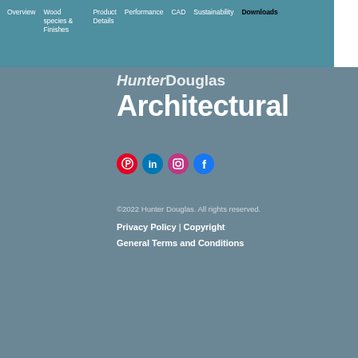Overview | Wood species & Finishes | Product Details | Performance | CAD | Sustainability | Downloads
HunterDouglas Architectural
[Figure (logo): Social media icons: Pinterest, LinkedIn, Instagram, Facebook]
©2022 Hunter Douglas. All rights reserved.
Privacy Policy | Copyright
General Terms and Conditions